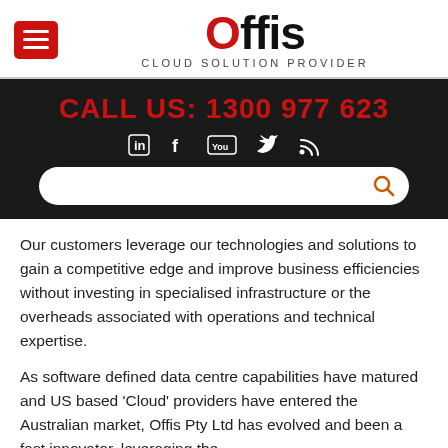[Figure (logo): Offis Cloud Solution Provider logo with hamburger menu icon and red O]
CALL US: 1300 977 623
[Figure (infographic): Social media icons: LinkedIn, Facebook, YouTube, Twitter, RSS feed on dark background, plus search bar]
Our customers leverage our technologies and solutions to gain a competitive edge and improve business efficiencies without investing in specialised infrastructure or the overheads associated with operations and technical expertise.
As software defined data centre capabilities have matured and US based 'Cloud' providers have entered the Australian market, Offis Pty Ltd has evolved and been a fast innovator, leveraging the